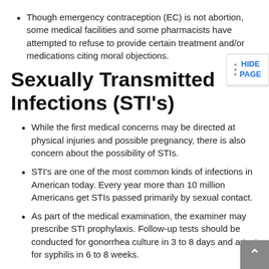Though emergency contraception (EC) is not abortion, some medical facilities and some pharmacists have attempted to refuse to provide certain treatment and/or medications citing moral objections.
Sexually Transmitted Infections (STI's)
While the first medical concerns may be directed at physical injuries and possible pregnancy, there is also concern about the possibility of STIs.
STI's are one of the most common kinds of infections in American today. Every year more than 10 million Americans get STIs passed primarily by sexual contact.
As part of the medical examination, the examiner may prescribe STI prophylaxis. Follow-up tests should be conducted for gonorrhea culture in 3 to 8 days and a test for syphilis in 6 to 8 weeks.